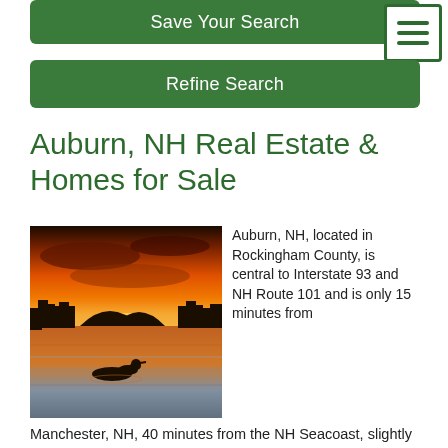Save Your Search
Refine Search
Auburn, NH Real Estate & Homes for Sale
[Figure (photo): A loon swimming on a lake at sunset with a vivid orange and yellow sky, silhouetted treeline, and calm water reflecting warm colors.]
Auburn, NH, located in Rockingham County, is central to Interstate 93 and NH Route 101 and is only 15 minutes from Manchester, NH, 40 minutes from the NH Seacoast, slightly over an hour from Boston, MA and less than two hours from the White Mountains. Auburn is home to Massabesic Lake, which it